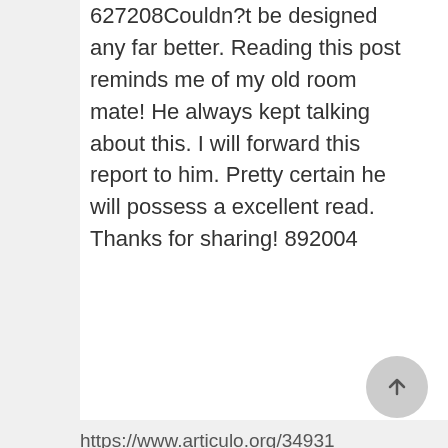627208Couldn?t be designed any far better. Reading this post reminds me of my old room mate! He always kept talking about this. I will forward this report to him. Pretty certain he will possess a excellent read. Thanks for sharing! 892004
https://www.articulo.org/34931